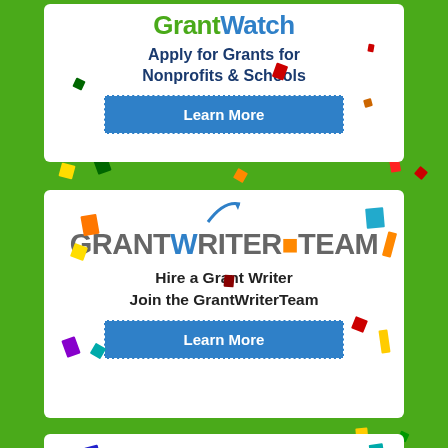[Figure (advertisement): GrantWatch advertisement card with logo, tagline 'Apply for Grants for Nonprofits & Schools' and Learn More button, with colorful confetti decorations]
[Figure (advertisement): GrantWriterTeam advertisement card with logo, tagline 'Hire a Grant Writer / Join the GrantWriterTeam' and Learn More button, with colorful confetti decorations]
[Figure (advertisement): YouHelp advertisement card with logo and colorful confetti decorations, partially visible at bottom]